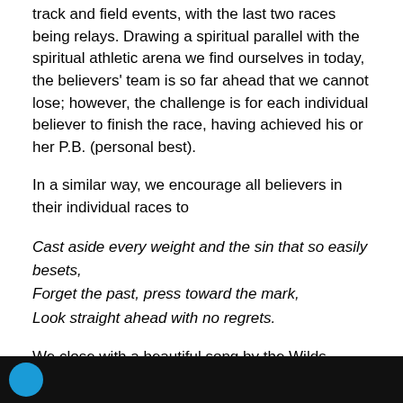track and field events, with the last two races being relays. Drawing a spiritual parallel with the spiritual athletic arena we find ourselves in today, the believers' team is so far ahead that we cannot lose; however, the challenge is for each individual believer to finish the race, having achieved his or her P.B. (personal best).
In a similar way, we encourage all believers in their individual races to
Cast aside every weight and the sin that so easily besets,
Forget the past, press toward the mark,
Look straight ahead with no regrets.
We close with a beautiful song by the Wilds based on Philippians 3:13-14: “Press toward the Mark”:
[Figure (screenshot): Black video player bar with a blue circular icon/thumbnail on the left]